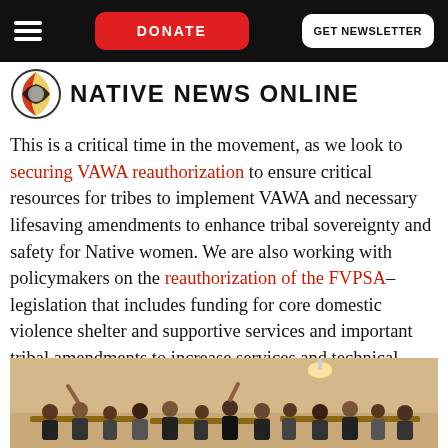DONATE | GET NEWSLETTER
[Figure (logo): Native News Online logo with circular icon]
This is a critical time in the movement, as we look to securing VAWA reauthorization to ensure critical resources for tribes to implement VAWA and necessary lifesaving amendments to enhance tribal sovereignty and safety for Native women. We are also working with policymakers on the reauthorization of the FVPSA–legislation that includes funding for core domestic violence shelter and supportive services and important tribal amendments to increase services and technical assistance.
[Figure (photo): Group of women sitting around tables in a conference room setting, some raising hands]